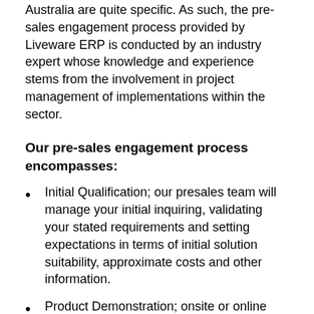Australia are quite specific. As such, the pre-sales engagement process provided by Liveware ERP is conducted by an industry expert whose knowledge and experience stems from the involvement in project management of implementations within the sector.
Our pre-sales engagement process encompasses:
Initial Qualification; our presales team will manage your initial inquiring, validating your stated requirements and setting expectations in terms of initial solution suitability, approximate costs and other information.
Product Demonstration; onsite or online demonstration of CIMSability Enterprise. Note: Attendees from the organisations themselves must be in attendance. Liveware do not perform demonstrations for external consultants or individuals alone whom are not direct employees of the organisation.